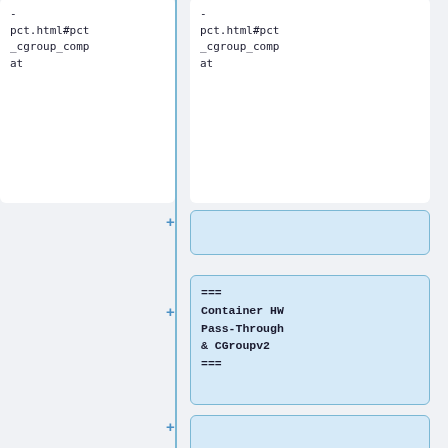-
pct.html#pct_cgroup_compat
-
pct.html#pct_cgroup_compat
+
+
===
Container HW Pass-Through & CGroupv2
===
+
+
Proxmox VE 7.0 defaults to the pure cgroupv2 environment, as v1 will be slowly sunset in